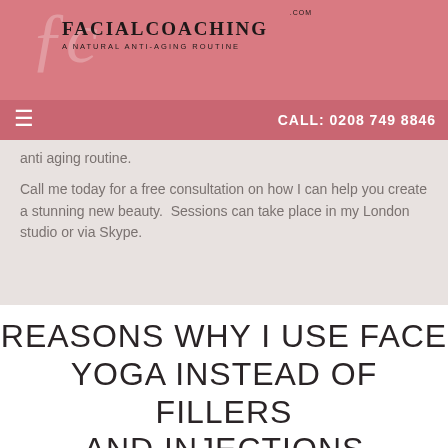[Figure (logo): FacialCoaching.com logo with script lettering on pink background, tagline: A Natural Anti-Aging Routine]
CALL: 0208 749 8846
anti aging routine.
Call me today for a free consultation on how I can help you create a stunning new beauty. Sessions can take place in my London studio or via Skype.
REASONS WHY I USE FACE YOGA INSTEAD OF FILLERS AND INJECTIONS